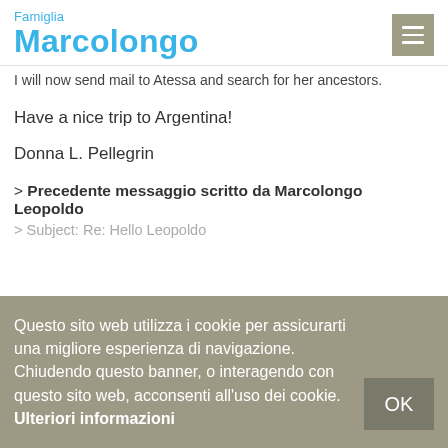Famiglia Marcolongo
I will now send mail to Atessa and search for her ancestors.
Have a nice trip to Argentina!
Donna L. Pellegrin
> Precedente messaggio scritto da Marcolongo Leopoldo
> Subject: Re: Hello Leopoldo
Questo sito web utilizza i cookie per assicurarti una migliore esperienza di navigazione. Chiudendo questo banner, o interagendo con questo sito web, acconsenti all'uso dei cookie. Ulteriori informazioni